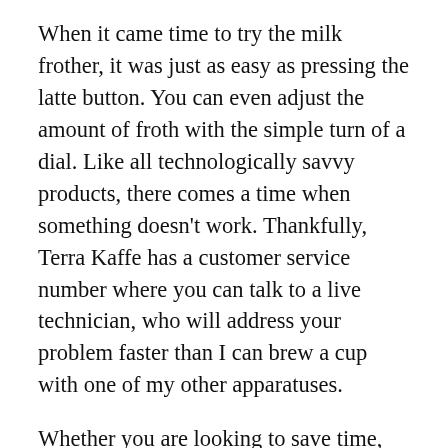When it came time to try the milk frother, it was just as easy as pressing the latte button. You can even adjust the amount of froth with the simple turn of a dial. Like all technologically savvy products, there comes a time when something doesn't work. Thankfully, Terra Kaffe has a customer service number where you can talk to a live technician, who will address your problem faster than I can brew a cup with one of my other apparatuses.
Whether you are looking to save time, environmental waste, or money, this device will convince even the most pretentious coffee aficionado to rethink their clunky, barista-style Italian espresso machine. If the taste doesn't convince you, the price point certainly will, as